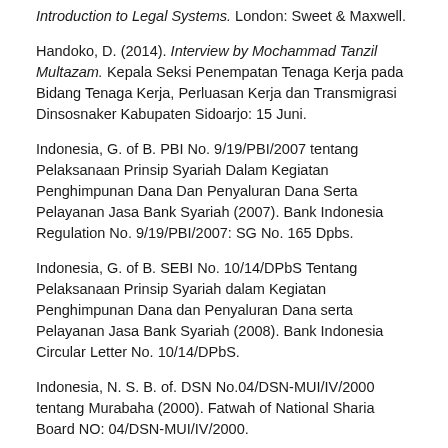Introduction to Legal Systems. London: Sweet & Maxwell.
Handoko, D. (2014). Interview by Mochammad Tanzil Multazam. Kepala Seksi Penempatan Tenaga Kerja pada Bidang Tenaga Kerja, Perluasan Kerja dan Transmigrasi Dinsosnaker Kabupaten Sidoarjo: 15 Juni.
Indonesia, G. of B. PBI No. 9/19/PBI/2007 tentang Pelaksanaan Prinsip Syariah Dalam Kegiatan Penghimpunan Dana Dan Penyaluran Dana Serta Pelayanan Jasa Bank Syariah (2007). Bank Indonesia Regulation No. 9/19/PBI/2007: SG No. 165 Dpbs.
Indonesia, G. of B. SEBI No. 10/14/DPbS Tentang Pelaksanaan Prinsip Syariah dalam Kegiatan Penghimpunan Dana dan Penyaluran Dana serta Pelayanan Jasa Bank Syariah (2008). Bank Indonesia Circular Letter No. 10/14/DPbS.
Indonesia, N. S. B. of. DSN No.04/DSN-MUI/IV/2000 tentang Murabaha (2000). Fatwah of National Sharia Board NO: 04/DSN-MUI/IV/2000.
Multazam, M. T. (2010). Pemanfaatan Video Konferensi Dalam Pembuatan Akta Notaris. Magister Kenotariatan Universitas Airlangga.